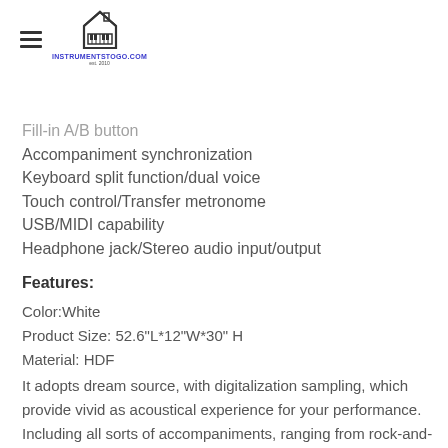[Figure (logo): InstrumentsToGo.com logo with hamburger menu icon and house/piano icon]
Fill-in A/B button
Accompaniment synchronization
Keyboard split function/dual voice
Touch control/Transfer metronome
USB/MIDI capability
Headphone jack/Stereo audio input/output
Features:
Color:White
Product Size: 52.6"L*12"W*30" H
Material: HDF
It adopts dream source, with digitalization sampling, which provide vivid as acoustical experience for your performance. Including all sorts of accompaniments, ranging from rock-and-roll to pop music and jazz, which enable you experience various feelings.